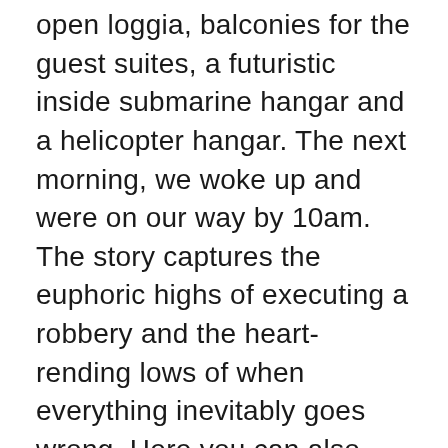open loggia, balconies for the guest suites, a futuristic inside submarine hangar and a helicopter hangar. The next morning, we woke up and were on our way by 10am. The story captures the euphoric highs of executing a robbery and the heart-rending lows of when everything inevitably goes wrong. Here you can also find a few that we consider “best practice” based on their use or design. The total energy released from uranium to lead, including the energy lost to neutrinos, is. All those features are now available in version 2 and the next screenshot introduces the configuration page for the two community types portal template and community one. Summary: a very fun group game for the holidays that involves giving a gift to a secret target person! Their lack of code knowledge is many times